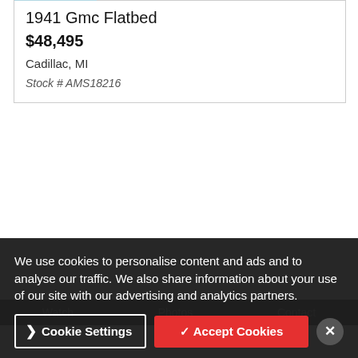[Figure (photo): 1941 GMC Flatbed truck, red cab-over-engine style with wooden flatbed, parked on a street with a large tree in background, suburban setting, sunny day]
UPDATED
1941 Gmc Flatbed
$48,495
Cadillac, MI
Stock # AMS18216
Watch    Photos  Contact
We use cookies to personalise content and ads and to analyse our traffic. We also share information about your use of our site with our advertising and analytics partners.
❯ Cookie Settings
✓ Accept Cookies
✕